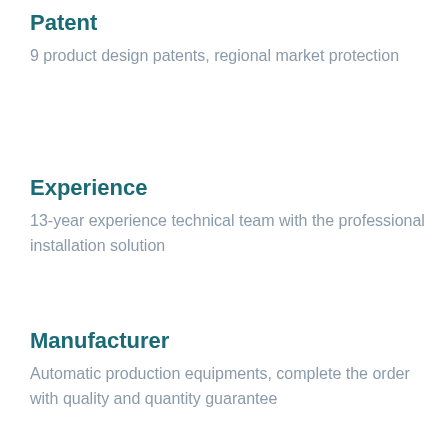Patent
9 product design patents, regional market protection
Experience
13-year experience technical team with the professional installation solution
Manufacturer
Automatic production equipments, complete the order with quality and quantity guarantee